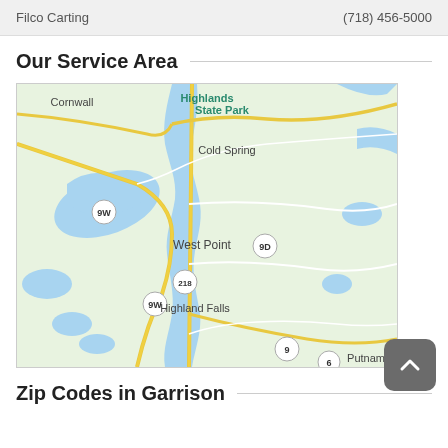Filco Carting    (718) 456-5000
Our Service Area
[Figure (map): Google Maps view showing the Hudson Valley area including Cornwall, State Park, Cold Spring, West Point, Highland Falls, Fort Montgomery, Bear Mountain, Annsville, Putnam, and Moheg with route markers 9W, 218, 9D, and 9.]
Zip Codes in Garrison